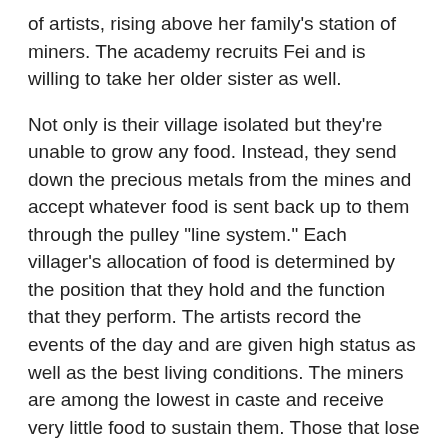of artists, rising above her family's station of miners. The academy recruits Fei and is willing to take her older sister as well.
Not only is their village isolated but they're unable to grow any food. Instead, they send down the precious metals from the mines and accept whatever food is sent back up to them through the pulley "line system." Each villager's allocation of food is determined by the position that they hold and the function that they perform. The artists record the events of the day and are given high status as well as the best living conditions. The miners are among the lowest in caste and receive very little food to sustain them. Those that lose their sight are forced to beg and are on near starvation allotments.
Li Wei is Fei's old friend and love interest but he's a miner. With her elevation to apprentice artist, they do not socialize and won't be allowed to marry. The village society has very strict customs and rituals - Li Wei and Fei are barely able to sign to each other a full conversation. But Fei comes across Li Wei just as an accident reveals that when Li Wei's father is in increasing danger with his deteriorating eyesight. As